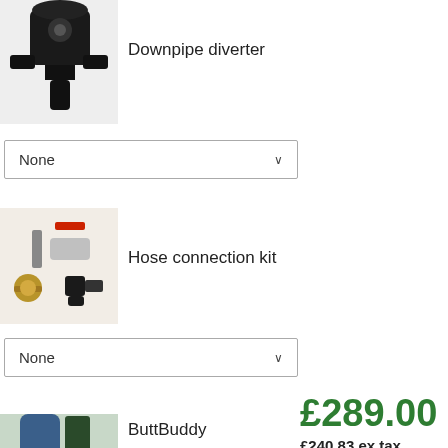[Figure (photo): Downpipe diverter product image - black device with mounting hardware]
Downpipe diverter
[Figure (screenshot): Dropdown selector showing 'None' with chevron, for Downpipe diverter]
[Figure (photo): Hose connection kit product image - brass fittings and red-handled valve]
Hose connection kit
[Figure (screenshot): Dropdown selector showing 'None' with chevron, for Hose connection kit]
[Figure (photo): ButtBuddy product image - blue cylindrical accessory against dark background]
ButtBuddy
[Figure (screenshot): Dropdown selector showing 'None', for ButtBuddy, partial]
£289.00
£240.83 ex tax
ADD TO CART